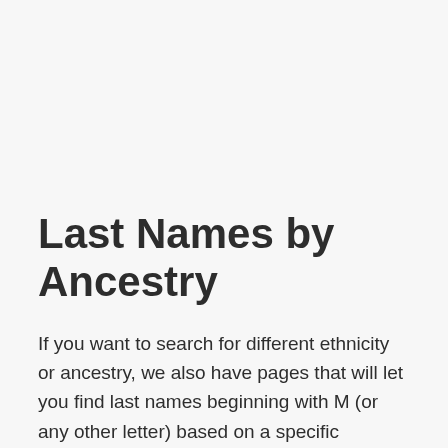Last Names by Ancestry
If you want to search for different ethnicity or ancestry, we also have pages that will let you find last names beginning with M (or any other letter) based on a specific ancestry.